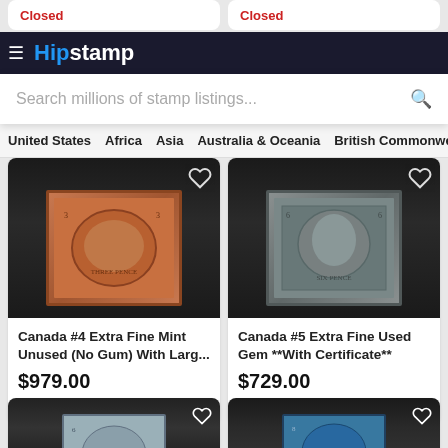Closed
Closed
[Figure (screenshot): HipStamp website navigation bar with logo and hamburger menu]
[Figure (screenshot): Search bar with placeholder text: Search millions of stamp listings...]
United States   Africa   Asia   Australia & Oceania   British Commonwealth   Cana
[Figure (photo): Canada #4 stamp - brown/red three-penny beaver stamp on dark background]
[Figure (photo): Canada #5 stamp - gray portrait stamp on dark background]
Canada #4 Extra Fine Mint Unused (No Gum) With Larg...
$979.00
Closed
Canada #5 Extra Fine Used Gem **With Certificate**
$729.00
Closed
[Figure (photo): Canada stamp - gray/blue 6-penny stamp on dark background (partial)]
[Figure (photo): Canada stamp - blue 8-penny stamp on dark background (partial)]